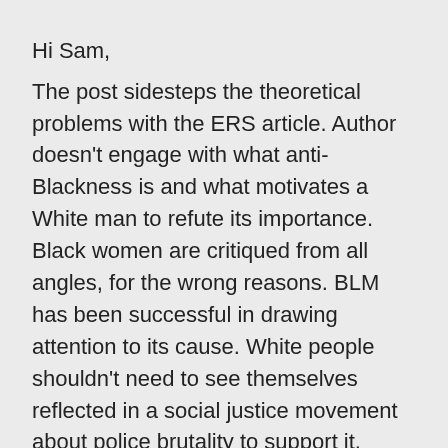Hi Sam,
The post sidesteps the theoretical problems with the ERS article. Author doesn't engage with what anti-Blackness is and what motivates a White man to refute its importance. Black women are critiqued from all angles, for the wrong reasons. BLM has been successful in drawing attention to its cause. White people shouldn't need to see themselves reflected in a social justice movement about police brutality to support it, unless they're not really interested in the issue of police murdering Black people The post suffers from the same logic as Szetela's – that racial justice needs to appeal to White people on White terms